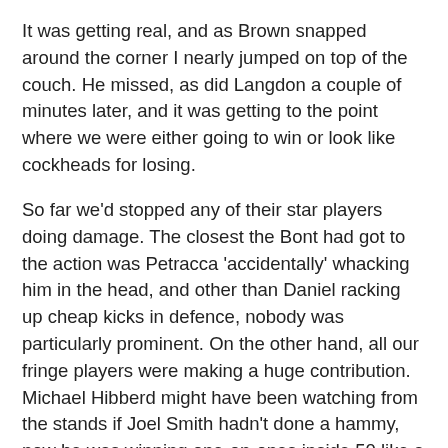It was getting real, and as Brown snapped around the corner I nearly jumped on top of the couch. He missed, as did Langdon a couple of minutes later, and it was getting to the point where we were either going to win or look like cockheads for losing.
So far we'd stopped any of their star players doing damage. The closest the Bont had got to the action was Petracca 'accidentally' whacking him in the head, and other than Daniel racking up cheap kicks in defence, nobody was particularly prominent. On the other hand, all our fringe players were making a huge contribution. Michael Hibberd might have been watching from the stands if Joel Smith hadn't done a hammy, now he was winning one-on-ones inside 50 like a boss.
The midweek earthquake (readers from the future, it was all happening in Victoria) revealed that a lot of people have security cameras inside their house. I'd have gone viral if you could see the way I acted during this game. Shifted by the lack of an internet broadcast to the boring old TV for the first time in three years, I prowled behind the couch, muttering